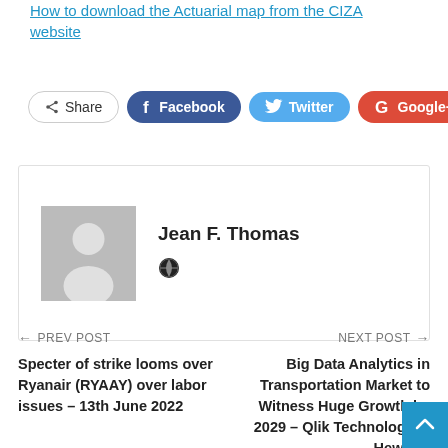▲ How to download the Actuarial map from the CIZA website
[Figure (infographic): Social sharing buttons row: Share, Facebook, Twitter, Google+, and a plus button]
Jean F. Thomas
[Figure (illustration): Author avatar placeholder showing a grey silhouette person icon]
← PREV POST
Specter of strike looms over Ryanair (RYAAY) over labor issues – 13th June 2022
NEXT POST →
Big Data Analytics in Transportation Market to Witness Huge Growth by 2029 – Qlik Technologies, Hewlett-